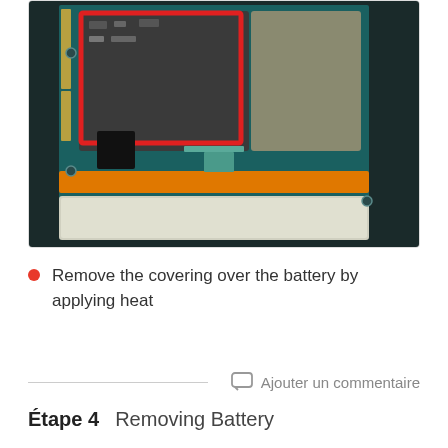[Figure (photo): Interior of a smartphone showing circuit board components with a red rectangle highlighting a specific area (possibly the battery/IC area), two black square markers, orange flex cables, a gold coil, and a large battery beneath.]
Remove the covering over the battery by applying heat
Ajouter un commentaire
Étape 4    Removing Battery